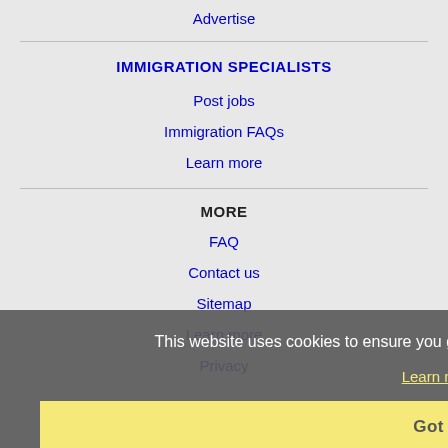Advertise
IMMIGRATION SPECIALISTS
Post jobs
Immigration FAQs
Learn more
MORE
FAQ
Contact us
Sitemap
Learn more
Privacy
This website uses cookies to ensure you get the best experience on our website.
Learn more
Got it!
NEARBY CITIES
Bridgeport, CT Jobs